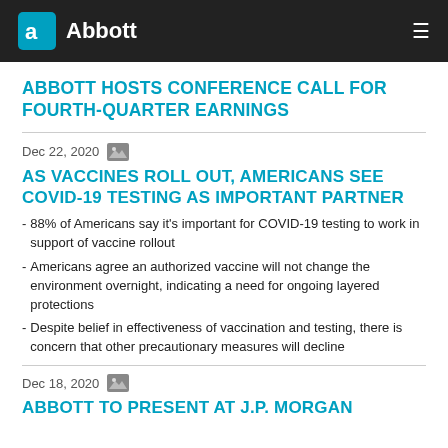Abbott
ABBOTT HOSTS CONFERENCE CALL FOR FOURTH-QUARTER EARNINGS
Dec 22, 2020
AS VACCINES ROLL OUT, AMERICANS SEE COVID-19 TESTING AS IMPORTANT PARTNER
- 88% of Americans say it’s important for COVID-19 testing to work in support of vaccine rollout
- Americans agree an authorized vaccine will not change the environment overnight, indicating a need for ongoing layered protections
- Despite belief in effectiveness of vaccination and testing, there is concern that other precautionary measures will decline
Dec 18, 2020
ABBOTT TO PRESENT AT J.P. MORGAN